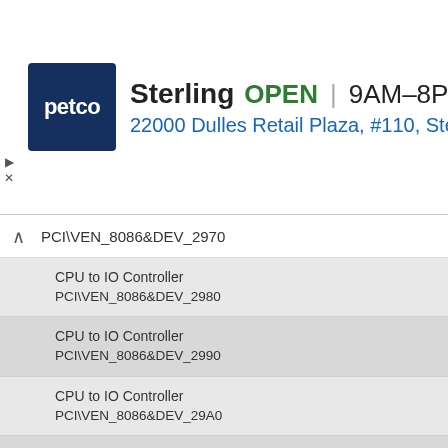[Figure (screenshot): Petco advertisement banner showing store name Sterling, status OPEN, hours 9AM-8PM, address 22000 Dulles Retail Plaza #110, Sterlin, with Petco logo and navigation arrow icon]
CPU to IO Controller
PCI\VEN_8086&DEV_2970
CPU to IO Controller
PCI\VEN_8086&DEV_2980
CPU to IO Controller
PCI\VEN_8086&DEV_2990
CPU to IO Controller
PCI\VEN_8086&DEV_29A0
CPU to IO Controller
PCI\VEN_8086&DEV_29B0
CPU to IO Controller
PCI\VEN_8086&DEV_29C0
CPU to IO Controller
PCI\VEN_8086&DEV_29D0